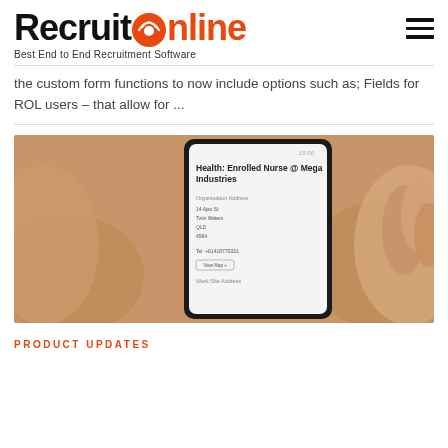RecruitOnline — Best End to End Recruitment Software
the custom form functions to now include options such as; Fields for ROL users – that allow for ...
[Figure (screenshot): Hand holding a smartphone displaying a recruitment app screen titled 'Health: Enrolled Nurse @ Mega Industries' showing Organisation Address fields and a View Map button.]
PRODUCT UPDATES